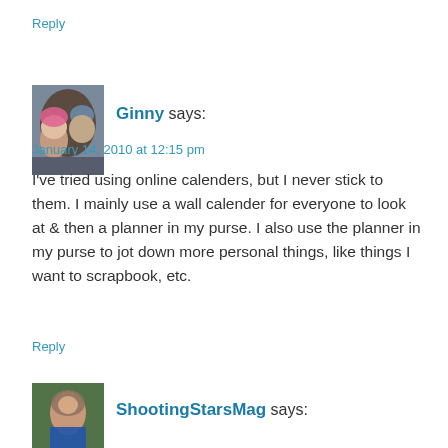Reply
[Figure (photo): Avatar photo of two children wearing winter hats]
Ginny says:
January 14, 2010 at 12:15 pm
I've tried using online calenders, but I never stick to them. I mainly use a wall calender for everyone to look at & then a planner in my purse. I also use the planner in my purse to jot down more personal things, like things I want to scrapbook, etc.
Reply
[Figure (photo): Avatar photo of a woman in a blue shirt outdoors]
ShootingStarsMag says: